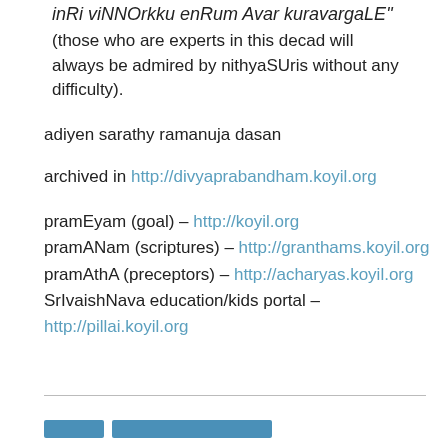inRi viNNOrkku enRum Avar kuravargaLE" (those who are experts in this decad will always be admired by nithyaSUris without any difficulty).
adiyen sarathy ramanuja dasan
archived in http://divyaprabandham.koyil.org
pramEyam (goal) – http://koyil.org
pramANam (scriptures) – http://granthams.koyil.org
pramAthA (preceptors) – http://acharyas.koyil.org
SrIvaishNava education/kids portal – http://pillai.koyil.org